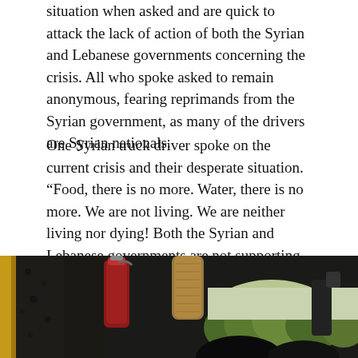situation when asked and are quick to attack the lack of action of both the Syrian and Lebanese governments concerning the crisis. All who spoke asked to remain anonymous, fearing reprimands from the Syrian government, as many of the drivers are Syrian nationals.
One Syrian truck driver spoke on the current crisis and their desperate situation. “Food, there is no more. Water, there is no more. We are not living. We are neither living nor dying! Both the Syrian and Lebanese governments are not supporting us. It’s all about letting the poor people die, and this is it. Imagine I’ve been sleeping on the highway for 15 days.”
[Figure (photo): Interior view of a truck cab, showing the inside of the vehicle with cluttered objects including what appears to be a red cylinder or fire extinguisher, a burlap-wrapped container, and a view through the windshield showing green trees and landscape outside. The image is dark and taken from inside the cab.]